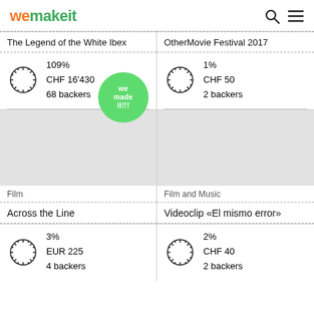wemakeit
The Legend of the White Ibex
109%
CHF 16'430
68 backers
OtherMovie Festival 2017
1%
CHF 50
2 backers
Film
Across the Line
3%
EUR 225
4 backers
Film and Music
Videoclip «El mismo error»
2%
CHF 40
2 backers